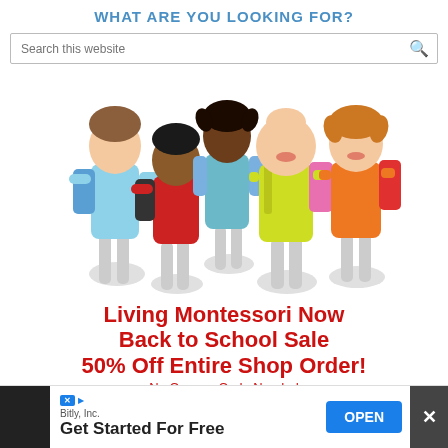WHAT ARE YOU LOOKING FOR?
Search this website
[Figure (photo): Group of five happy children with colorful backpacks, ready for back to school]
Living Montessori Now Back to School Sale 50% Off Entire Shop Order!
No Coupon Code Needed
Sale Ends: Wednesday, August 31 at 11:59pm PST.
Bitly, Inc.
Get Started For Free